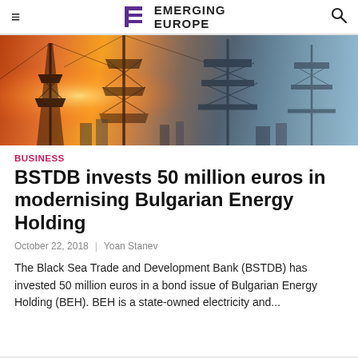EMERGING EUROPE
[Figure (photo): Electrical power transmission towers and substation infrastructure with warm orange sunset light on left, blue sky on right]
BUSINESS
BSTDB invests 50 million euros in modernising Bulgarian Energy Holding
October 22, 2018 | Yoan Stanev
The Black Sea Trade and Development Bank (BSTDB) has invested 50 million euros in a bond issue of Bulgarian Energy Holding (BEH). BEH is a state-owned electricity and...